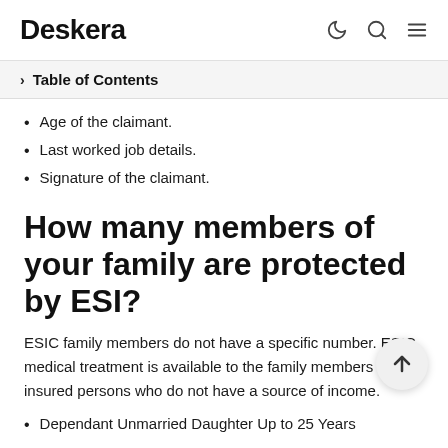Deskera
Table of Contents
Age of the claimant.
Last worked job details.
Signature of the claimant.
How many members of your family are protected by ESI?
ESIC family members do not have a specific number. ESIC medical treatment is available to the family members of insured persons who do not have a source of income.
Dependant Unmarried Daughter Up to 25 Years